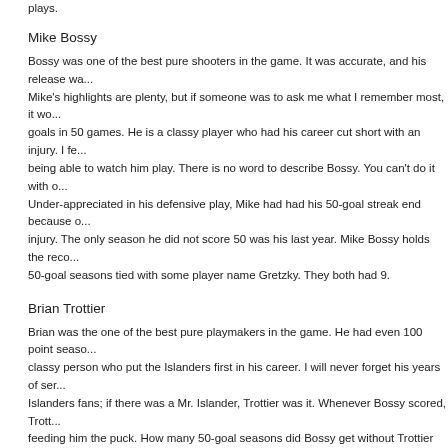plays.
Mike Bossy
Bossy was one of the best pure shooters in the game. It was accurate, and his release wa... Mike's highlights are plenty, but if someone was to ask me what I remember most, it wo... goals in 50 games. He is a classy player who had his career cut short with an injury. I fe... being able to watch him play. There is no word to describe Bossy. You can't do it with o... Under-appreciated in his defensive play, Mike had had his 50-goal streak end because o... injury. The only season he did not score 50 was his last year. Mike Bossy holds the reco... 50-goal seasons tied with some player name Gretzky. They both had 9.
Brian Trottier
Brian was the one of the best pure playmakers in the game. He had even 100 point seaso... classy person who put the Islanders first in his career. I will never forget his years of ser... Islanders fans; if there was a Mr. Islander, Trottier was it. Whenever Bossy scored, Trott... feeding him the puck. How many 50-goal seasons did Bossy get without Trottier feedin... puck?
So why am I telling you about the history of the Islanders players? Because I think the t... success of a franchise tell volumes of the importance of it's very existence. The Islander... franchise, with a wonderful history.
The Islanders have great fans who are loyal to the team. Why do you think their players... with those fans? I constantly hear those players speak of how proud they were to be an...